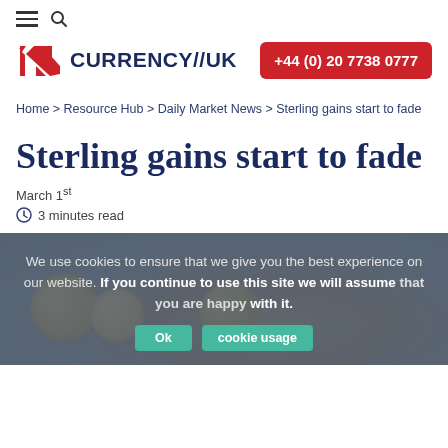≡ 🔍
[Figure (logo): Currency//UK logo with red and white diagonal flag icon and dark blue CURRENCY//UK text, plus red phone button reading +44 (0) 20 7738 0777]
Home > Resource Hub > Daily Market News > Sterling gains start to fade
Sterling gains start to fade
March 1st
🕐 3 minutes read
We use cookies to ensure that we give you the best experience on our website. If you continue to use this site we will assume that you are happy with it.